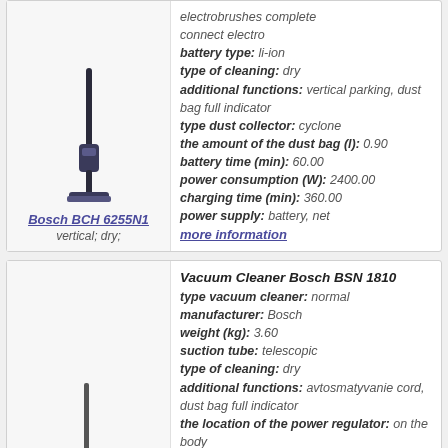[Figure (photo): Bosch BCH 6255N1 stick/vertical vacuum cleaner]
Bosch BCH 6255N1 / vertical; dry; / electrobrushes complete / connect electro / battery type: li-ion / type of cleaning: dry / additional functions: vertical parking, dust bag full indicator / type dust collector: cyclone / the amount of the dust bag (l): 0.90 / battery time (min): 60.00 / power consumption (W): 2400.00 / charging time (min): 360.00 / power supply: battery, net / more information
[Figure (photo): Bosch BSN 1810 canister vacuum cleaner, red and grey]
Bosch BSN 1810 / normal; dry; / Vacuum Cleaner Bosch BSN 1810 / type vacuum cleaner: normal / manufacturer: Bosch / weight (kg): 3.60 / suction tube: telescopic / type of cleaning: dry / additional functions: avtosmatyvanie cord, dust bag full indicator / the location of the power regulator: on the body / type dust collector: bag / the amount of the dust bag (l): 3.00 / set of brushes: brush floor + carpet, crevice, upholstery / suction power (W): 300.00 / power consumption (W): 1800.00 / more information
Vacuum Cleaner Bosch BSG 8PRO2...